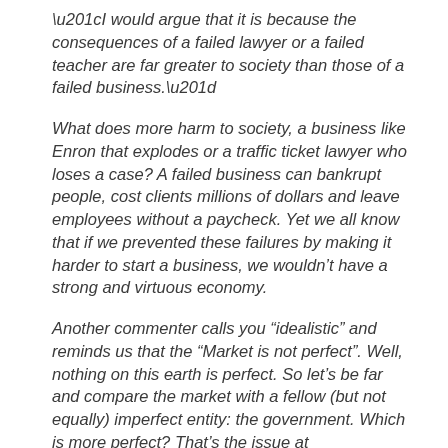“I would argue that it is because the consequences of a failed lawyer or a failed teacher are far greater to society than those of a failed business.”
What does more harm to society, a business like Enron that explodes or a traffic ticket lawyer who loses a case? A failed business can bankrupt people, cost clients millions of dollars and leave employees without a paycheck. Yet we all know that if we prevented these failures by making it harder to start a business, we wouldn’t have a strong and virtuous economy.
Another commenter calls you “idealistic” and reminds us that the “Market is not perfect”. Well, nothing on this earth is perfect. So let’s be far and compare the market with a fellow (but not equally) imperfect entity: the government. Which is more perfect? That’s the issue at